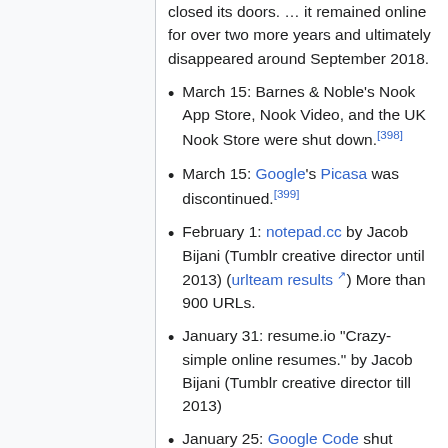closed its doors. ... it remained online for over two more years and ultimately disappeared around September 2018.
March 15: Barnes & Noble's Nook App Store, Nook Video, and the UK Nook Store were shut down.[398]
March 15: Google's Picasa was discontinued.[399]
February 1: notepad.cc by Jacob Bijani (Tumblr creative director until 2013) (urlteam results) More than 900 URLs.
January 31: resume.io "Crazy-simple online resumes." by Jacob Bijani (Tumblr creative director till 2013)
January 25: Google Code shut down.[400]
January 21: Google Maps Coordinate shut down.